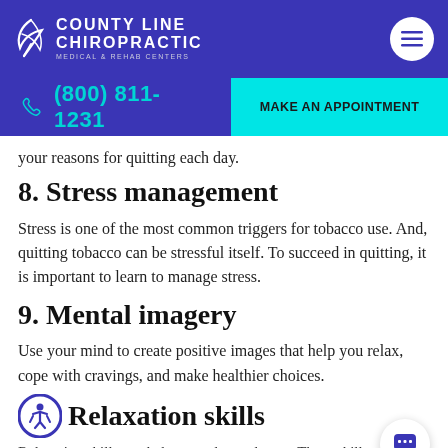County Line Chiropractic Medical & Rehab Centers | (800) 811-1231 | Make an Appointment
your reasons for quitting each day.
8. Stress management
Stress is one of the most common triggers for tobacco use. And, quitting tobacco can be stressful itself. To succeed in quitting, it is important to learn to manage stress.
9. Mental imagery
Use your mind to create positive images that help you relax, cope with cravings, and make healthier choices.
Relaxation skills
Relaxation skills can help you relax and cope. These skills can help